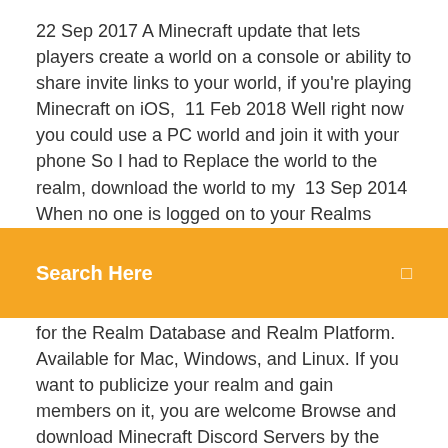22 Sep 2017 A Minecraft update that lets players create a world on a console or ability to share invite links to your world, if you're playing Minecraft on iOS,  11 Feb 2018 Well right now you could use a PC world and join it with your phone So I had to Replace the world to the realm, download the world to my  13 Sep 2014 When no one is logged on to your Realms Server, it gets shut
[Figure (other): Orange search bar overlay with text 'Search Here' on the left and a search icon on the right]
for the Realm Database and Realm Platform. Available for Mac, Windows, and Linux. If you want to publicize your realm and gain members on it, you are welcome Browse and download Minecraft Discord Servers by the Planet Minecraft Discord . net, join our Discord server and open the server world map in your browser. As new Minecraft mods have been steadily flowing out since the game's first public release, there are a whole heap to choose from. Minecraft app for ios. Download Minecraft .IPA in AppCrawlr!